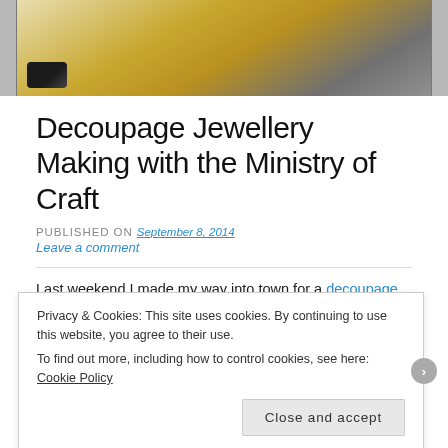[Figure (photo): Partial photo of colorful decoupage jewellery piece on grey background]
Decoupage Jewellery Making with the Ministry of Craft
PUBLISHED ON September 8, 2014
Leave a comment
Last weekend I made my way into town for a decoupage jewellery making class with the Ministry of Craft. This is the first
Privacy & Cookies: This site uses cookies. By continuing to use this website, you agree to their use.
To find out more, including how to control cookies, see here: Cookie Policy
Close and accept